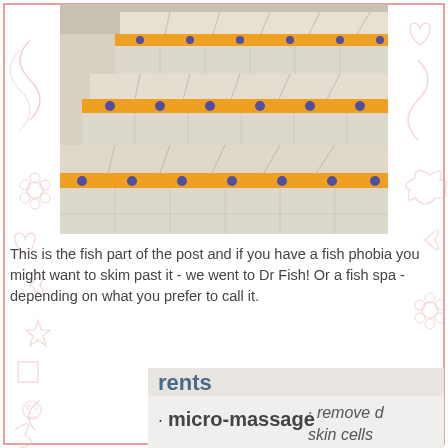[Figure (photo): Photo of tiled staircase with decorative orange and blue tile borders on each step riser]
This is the fish part of the post and if you have a fish phobia you might want to skim past it - we went to Dr Fish! Or a fish spa - depending on what you prefer to call it.
[Figure (photo): Photo of a sign for Dr Fish spa showing bullet points: micro-massage, remove dead skin cells, improves blood circulation. Below is an image of small fish with a speech bubble saying 'my name is doctor fish, and i'm actually toothless.']